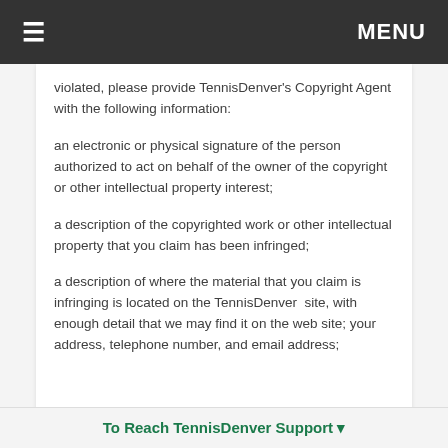≡  MENU
violated, please provide TennisDenver's Copyright Agent with the following information:
an electronic or physical signature of the person authorized to act on behalf of the owner of the copyright or other intellectual property interest;
a description of the copyrighted work or other intellectual property that you claim has been infringed;
a description of where the material that you claim is infringing is located on the TennisDenver  site, with enough detail that we may find it on the web site; your address, telephone number, and email address;
To Reach TennisDenver Support ▾